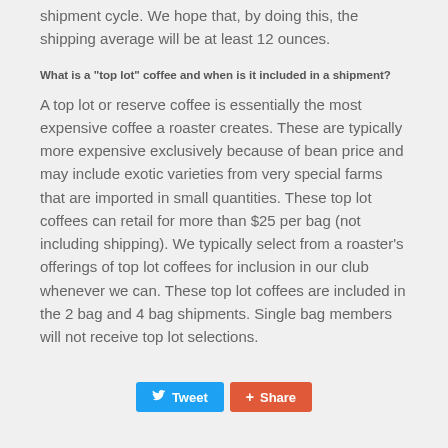shipment cycle. We hope that, by doing this, the shipping average will be at least 12 ounces.
What is a "top lot" coffee and when is it included in a shipment?
A top lot or reserve coffee is essentially the most expensive coffee a roaster creates. These are typically more expensive exclusively because of bean price and may include exotic varieties from very special farms that are imported in small quantities. These top lot coffees can retail for more than $25 per bag (not including shipping). We typically select from a roaster's offerings of top lot coffees for inclusion in our club whenever we can. These top lot coffees are included in the 2 bag and 4 bag shipments. Single bag members will not receive top lot selections.